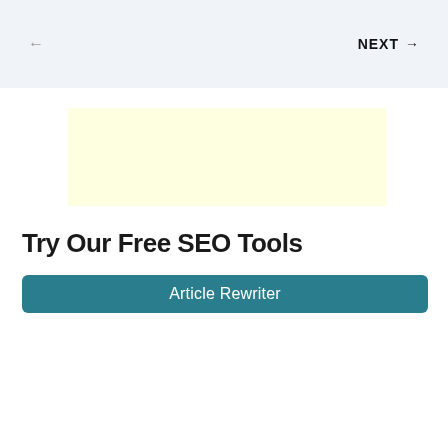← NEXT →
[Figure (other): Pale yellow advertisement placeholder box]
Try Our Free SEO Tools
Article Rewriter